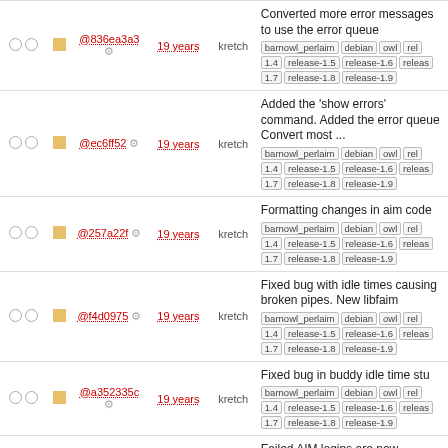|  |  |  | hash | age | author | description |
| --- | --- | --- | --- | --- | --- | --- |
|  |  |  | @836ea3a3 | 19 years | kretch | Converted more error messages to use the error queue | barnowl_perlaim debian owl rel 1.4 release-1.5 release-1.6 releas 1.7 release-1.8 release-1.9 |
|  |  |  | @ec6ff52 | 19 years | kretch | Added the 'show errors' command. Added the error queue Convert most ... | barnowl_perlaim debian owl rel 1.4 release-1.5 release-1.6 releas 1.7 release-1.8 release-1.9 |
|  |  |  | @257a22f | 19 years | kretch | Formatting changes in aim code | barnowl_perlaim debian owl rel 1.4 release-1.5 release-1.6 releas 1.7 release-1.8 release-1.9 |
|  |  |  | @f4d0975 | 19 years | kretch | Fixed bug with idle times causing broken pipes. New libfaim | barnowl_perlaim debian owl rel 1.4 release-1.5 release-1.6 releas 1.7 release-1.8 release-1.9 |
|  |  |  | @a352335c | 19 years | kretch | Fixed bug in buddy idle time stu | barnowl_perlaim debian owl rel 1.4 release-1.5 release-1.6 releas 1.7 release-1.8 release-1.9 |
|  |  |  | @c045455 | 19 years | kretch | Failed AIM logins are now correctly reported | barnowl_perlaim debian owl rel 1.4 release-1.5 release-1.6 releas 1.7 release-1.8 release-1.9 |
|  |  |  | @de03334 | 19 years | kretch | Idletimes now appear in the buddylist | barnowl_perlaim debian owl rel 1.4 release-1.5 releas... |